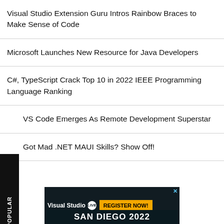Visual Studio Extension Guru Intros Rainbow Braces to Make Sense of Code
Microsoft Launches New Resource for Java Developers
C#, TypeScript Crack Top 10 in 2022 IEEE Programming Language Ranking
VS Code Emerges As Remote Development Superstar
Got Mad .NET MAUI Skills? Show Off!
[Figure (screenshot): Advertisement banner for Visual Studio LIVE! conference with 'REGISTER NOW!' button and 'SAN DIEGO 2022' text]